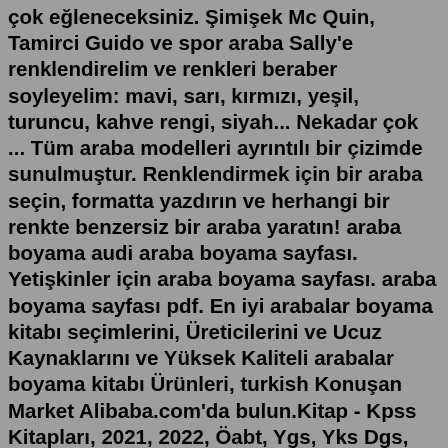çok eğleneceksiniz. Şimişek Mc Quin, Tamirci Guido ve spor araba Sally'e renklendirelim ve renkleri beraber soyleyelim: mavi, sarı, kırmızı, yeşil, turuncu, kahve rengi, siyah... Nekadar çok ... Tüm araba modelleri ayrıntılı bir çizimde sunulmuştur. Renklendirmek için bir araba seçin, formatta yazdırın ve herhangi bir renkte benzersiz bir araba yaratın! araba boyama audi araba boyama sayfası. Yetişkinler için araba boyama sayfası. araba boyama sayfası pdf. En iyi arabalar boyama kitabı seçimlerini, Üreticilerini ve Ucuz Kaynaklarını ve Yüksek Kaliteli arabalar boyama kitabı Ürünleri, turkish Konuşan Market Alibaba.com'da bulun.Kitap - Kpss Kitapları, 2021, 2022, Öabt, Ygs, Yks Dgs, Yds, Kpss Yayınları, Esen Yayınları, Palme, Benim Hocam, Yediiklim, Hocalara Geldik, Tyt, Kitapları ...Apr 06, 2015 · Eğitici çizgi film - Boyama kitabı - Araba. Okul öncesi çocuklara renkleri öğretiyoruz. Bu eğitici çizgi film aynı zamanda eğlenceli de. Güzel bir arabayı kırmızıya boyuyoruz; araba artık gitmeye hazır.